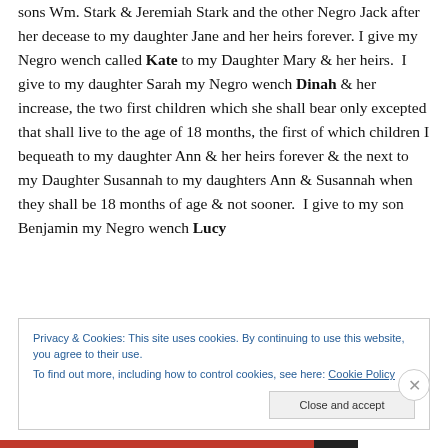sons Wm. Stark & Jeremiah Stark and the other Negro Jack after her decease to my daughter Jane and her heirs forever. I give my Negro wench called Kate to my Daughter Mary & her heirs.  I give to my daughter Sarah my Negro wench Dinah & her increase, the two first children which she shall bear only excepted that shall live to the age of 18 months, the first of which children I bequeath to my daughter Ann & her heirs forever & the next to my Daughter Susannah to my daughters Ann & Susannah when they shall be 18 months of age & not sooner.  I give to my son Benjamin my Negro wench Lucy
Privacy & Cookies: This site uses cookies. By continuing to use this website, you agree to their use.
To find out more, including how to control cookies, see here: Cookie Policy